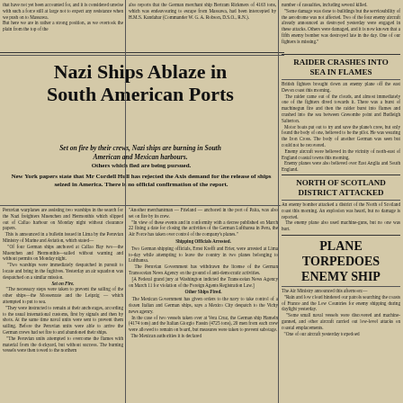that have not yet been accounted for, and it is considered unwise with such a force still at large not to expect any resistance when we push on to Massawa. But here we are in rather a strong position, as we overtook the plain from the top of the
also reports that the German merchant ship Bertram Rickmers of 4163 tons, which was endeavouring to escape from Massawa, had been intercepted by H.M.S. Kandahar (Commander W. G. A. Robson, D.S.O., R.N.).
number of casualties, including several killed. "Some damage was done to buildings but the serviceability of the aerodrome was not affected. Two of the four enemy aircraft already announced as destroyed yesterday were engaged in these attacks. Others were damaged, and it is now known that a fifth enemy bomber was destroyed late in the day. One of our fighters is missing."
Nazi Ships Ablaze in South American Ports
Set on fire by their crews, Nazi ships are burning in South American and Mexican harbours.
Others which fled are being pursued.
New York papers state that Mr Cordell Hull has rejected the Axis demand for the release of ships seized in America. There is no official confirmation of the report.
Peruvian warplanes are assisting two warships in the search for the Nazi freighters Muenchen and Hermonthis which slipped out of Callao harbour on Monday night without clearance papers. This is announced in a bulletin issued in Lima by the Peruvian Ministry of Marine and Aviation, which stated— "Of four German ships anchored at Callao Bay two—the Muenchen and Hermonthis—sailed without warning and without permits on Monday night. "Two warships were immediately despatched in pursuit to locate and bring in the fugitives. Yesterday an air squadron was despatched on a similar mission. Set on Fire. "The necessary steps were taken to prevent the sailing of the other ships—the Mossenrate and the Leipzig— which attempted to put to sea. "They were instructed to remain at their anchorages, according to the usual international customs, first by signals and then by shots. At the same time naval units were sent to prevent them sailing. Before the Peruvian units were able to arrive the German crews had set fire to and abandoned their ships. "The Peruvian units attempted to overcome the flames with material from the dockyard, but without success. The burning vessels were then towed to the northern
"Another merchantman — Frieland — anchored in the port of Paita, was also set on fire by its crew. "In view of these events and in conformity with a decree published on March 22 fixing a date for closing the activities of the German Lufthansa in Peru, the Air Force has taken over control of the company's planes." Shipping Officials Arrested. Two German shipping officials, Ernst Krefft and Erier, were arrested at Lima to-day while attempting to leave the country in two planes belonging to Lufthansa. The Peruvian Government has withdrawn the license of the German Transoceian News Agency on the ground of anti-democratic activities. [A Federal grand jury at Washington indicted the Transoceian News Agency on March 11 for violation of the Foreign Agents Registration Law.] Other Ships Fired. The Mexican Government has given orders to the navy to take control of a dozen Italian and German ships, says a Mexico City despatch to the Vichy news agency. In the case of two vessels taken over at Vera Cruz, the German ship Hameln (4174 tons) and the Italian Giorgio Fassin (4725 tons), 20 men from each crew were allowed to remain on board, but measures were taken to prevent sabotage. The Mexican authorities it is declared
RAIDER CRASHES INTO SEA IN FLAMES
British fighters brought down an enemy plane off the east Devon coast this morning. The raider came out of the clouds, and almost immediately one of the fighters dived towards it. There was a burst of machinegun fire and then the raider burst into flames and crashed into the sea between Gresombe point and Budleigh Salterton. Motor boats put out to try and save the plane's crew, but only found the body of one, believed to be the pilot. He was wearing the Iron Cross. The body of another German was seen but could not be recovered. Enemy aircraft were believed in the vicinity of north-east of England coastal towns this morning. Enemy planes were also believed over East Anglia and South England.
NORTH OF SCOTLAND DISTRICT ATTACKED
An enemy bomber attacked a district of the North of Scotland coast this morning. An explosion was heard, but no damage is reported. The enemy plane also used machine-guns, but no one was hurt.
PLANE TORPEDOES ENEMY SHIP
The Air Ministry announced this afternoon:— "Rain and low cloud hindered our patrols searching the coasts of France and the Low Countries for enemy shipping during daylight yesterday. "Some small naval vessels were discovered and machine-gunned, and other aircraft carried out low-level attacks on coastal emplacements. "One of our aircraft yesterday torpedoed